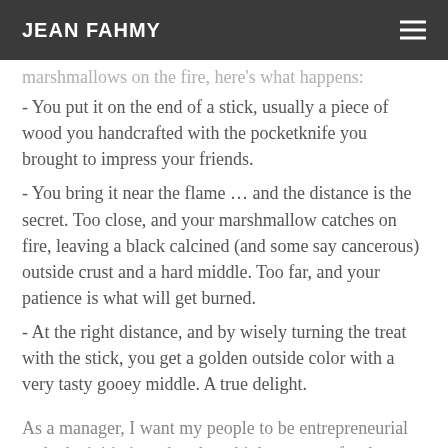JEAN FAHMY
marshmallows on the fire, here's what happens:
- You put it on the end of a stick, usually a piece of wood you handcrafted with the pocketknife you brought to impress your friends.
- You bring it near the flame … and the distance is the secret. Too close, and your marshmallow catches on fire, leaving a black calcined (and some say cancerous) outside crust and a hard middle. Too far, and your patience is what will get burned.
- At the right distance, and by wisely turning the treat with the stick, you get a golden outside color with a very tasty gooey middle. A true delight.
As a manager, I want my people to be entrepreneurial and take initiatives that they think are great for the organization. Which means they will make mistakes. Which means I want them to learn from their mistakes. If